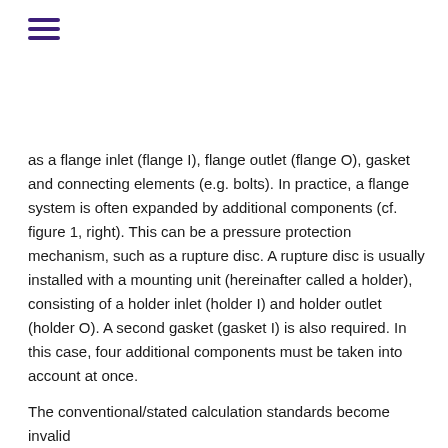≡
as a flange inlet (flange I), flange outlet (flange O), gasket and connecting elements (e.g. bolts). In practice, a flange system is often expanded by additional components (cf. figure 1, right). This can be a pressure protection mechanism, such as a rupture disc. A rupture disc is usually installed with a mounting unit (hereinafter called a holder), consisting of a holder inlet (holder I) and holder outlet (holder O). A second gasket (gasket I) is also required. In this case, four additional components must be taken into account at once.
The conventional/stated calculation standards become invalid